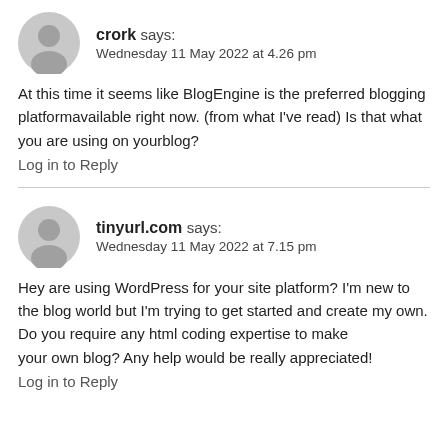crork says:
Wednesday 11 May 2022 at 4.26 pm
At this time it seems like BlogEngine is the preferred blogging platformavailable right now. (from what I've read) Is that what you are using on yourblog?
Log in to Reply
tinyurl.com says:
Wednesday 11 May 2022 at 7.15 pm
Hey are using WordPress for your site platform? I'm new to the blog world but I'm trying to get started and create my own. Do you require any html coding expertise to make
your own blog? Any help would be really appreciated!
Log in to Reply